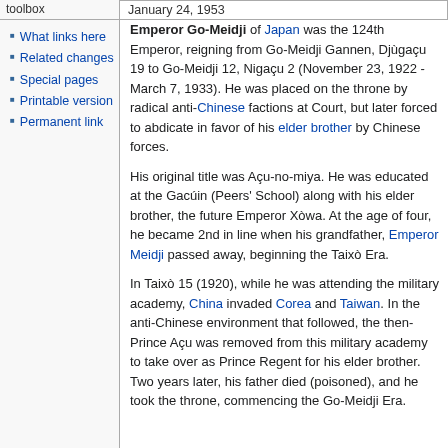January 24, 1953
toolbox
What links here
Related changes
Special pages
Printable version
Permanent link
Emperor Go-Meidji of Japan was the 124th Emperor, reigning from Go-Meidji Gannen, Djùgaçu 19 to Go-Meidji 12, Nigaçu 2 (November 23, 1922 - March 7, 1933). He was placed on the throne by radical anti-Chinese factions at Court, but later forced to abdicate in favor of his elder brother by Chinese forces.
His original title was Açu-no-miya. He was educated at the Gacúin (Peers' School) along with his elder brother, the future Emperor Xòwa. At the age of four, he became 2nd in line when his grandfather, Emperor Meidji passed away, beginning the Taixò Era.
In Taixò 15 (1920), while he was attending the military academy, China invaded Corea and Taiwan. In the anti-Chinese environment that followed, the then-Prince Açu was removed from this military academy to take over as Prince Regent for his elder brother. Two years later, his father died (poisoned), and he took the throne, commencing the Go-Meidji Era.